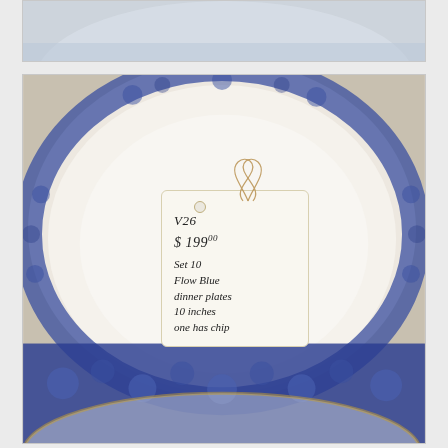[Figure (photo): Partial top view of blue and white Flow Blue porcelain plate, cropped at top of page]
[Figure (photo): Close-up photo of a Flow Blue dinner plate (blue floral border on white) with a handwritten price tag attached by a string. The tag reads: V26, $199.00, Set 10, Flow Blue, dinner plates, 10 inches, one has chip]